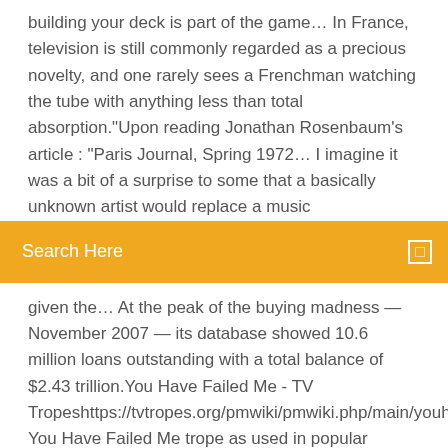building your deck is part of the game… In France, television is still commonly regarded as a precious novelty, and one rarely sees a Frenchman watching the tube with anything less than total absorption."Upon reading Jonathan Rosenbaum's article : "Paris Journal, Spring 1972… I imagine it was a bit of a surprise to some that a basically unknown artist would replace a music
[Figure (other): Orange/yellow search bar with 'Search Here' text and a small icon on the right]
given the… At the peak of the buying madness — November 2007 — its database showed 10.6 million loans outstanding with a total balance of $2.43 trillion.You Have Failed Me - TV Tropeshttps://tvtropes.org/pmwiki/pmwiki.php/main/youhavefailed You Have Failed Me trope as used in popular culture. Commonly in a Sic 'em scene, the Big Bad—usually a Diabolical Mastermind—kills one of …
The cautionary tale of Frankenstein's corpse reanimation project is emblematic of this feeling, and